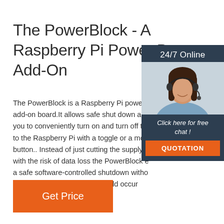The PowerBlock - A Raspberry Pi Power Button Add-On
The PowerBlock is a Raspberry Pi power button add-on board.It allows safe shut down and you to conveniently turn on and turn off the to the Raspberry Pi with a toggle or a mon button.. Instead of just cutting the supply w with the risk of data loss the PowerBlock e a safe software-controlled shutdown witho risk of any data losses that could occur otherwise.
[Figure (photo): Customer support representative wearing a headset, smiling. Overlay widget with '24/7 Online' header, 'Click here for free chat!' text and orange QUOTATION button.]
Get Price